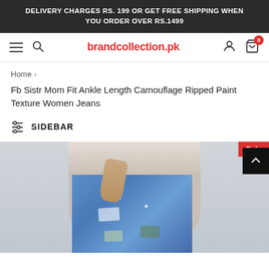DELIVERY CHARGES RS. 199 OR GET FREE SHIPPING WHEN YOU ORDER OVER RS.1499
brandcollection.pk
Home › Fb Sistr Mom Fit Ankle Length Camouflage Ripped Paint Texture Women Jeans
SIDEBAR
[Figure (photo): Product photo of women wearing ripped camouflage paint texture mom fit ankle length jeans with a 'Sale' badge in the top right corner]